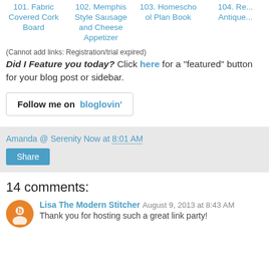101. Fabric Covered Cork Board
102. Memphis Style Sausage and Cheese Appetizer
103. Homeschool Plan Book
104. Re... Antique...
(Cannot add links: Registration/trial expired)
Did I Feature you today? Click here for a "featured" button for your blog post or sidebar.
[Figure (other): Follow me on bloglovin' button/badge]
Amanda @ Serenity Now at 8:01 AM
Share
14 comments:
Lisa The Modern Stitcher  August 9, 2013 at 8:43 AM
Thank you for hosting such a great link party!